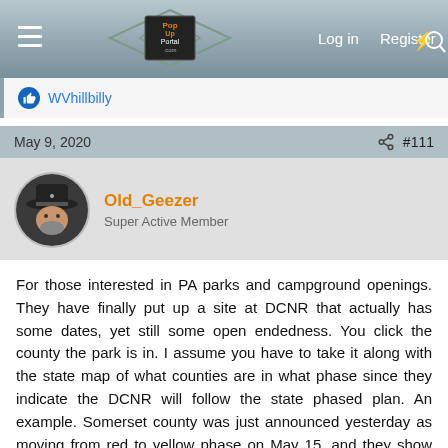[Figure (screenshot): PopUpPortal.com website navigation bar with hamburger menu, logo, Log in, Register, and search icons]
WVhillbilly
May 9, 2020  #111
Old_Geezer
Super Active Member
For those interested in PA parks and campground openings. They have finally put up a site at DCNR that actually has some dates, yet still some open endedness. You click the county the park is in. I assume you have to take it along with the state map of what counties are in what phase since they indicate the DCNR will follow the state phased plan. An example. Somerset county was just announced yesterday as moving from red to yellow phase on May 15, and they show state park campgrounds in Somerset opening May 22 with an actual date posted.